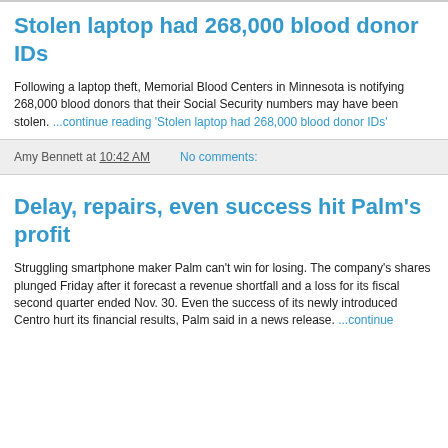Stolen laptop had 268,000 blood donor IDs
Following a laptop theft, Memorial Blood Centers in Minnesota is notifying 268,000 blood donors that their Social Security numbers may have been stolen. ...continue reading 'Stolen laptop had 268,000 blood donor IDs'
Amy Bennett at 10:42 AM   No comments:
Delay, repairs, even success hit Palm's profit
Struggling smartphone maker Palm can't win for losing. The company's shares plunged Friday after it forecast a revenue shortfall and a loss for its fiscal second quarter ended Nov. 30. Even the success of its newly introduced Centro hurt its financial results, Palm said in a news release. ...continue